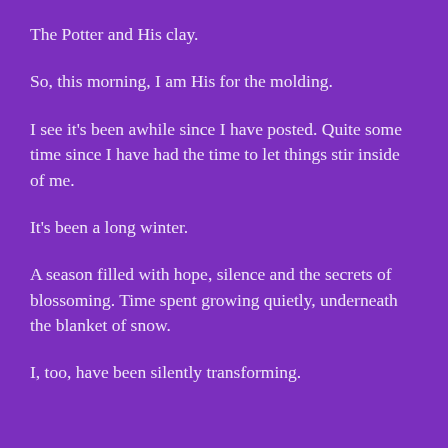The Potter and His clay.
So, this morning, I am His for the molding.
I see it's been awhile since I have posted. Quite some time since I have had the time to let things stir inside of me.
It's been a long winter.
A season filled with hope, silence and the secrets of blossoming. Time spent growing quietly, underneath the blanket of snow.
I, too, have been silently transforming.